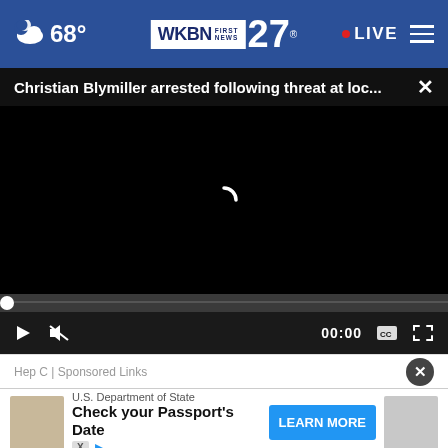68° | WKBN 27 FIRST NEWS | LIVE
Christian Blymiller arrested following threat at loc...
[Figure (screenshot): Black video player loading screen with spinning arc indicator]
00:00
Hep C | Sponsored Links
[Figure (screenshot): U.S. Department of State ad: Check your Passport's Date with LEARN MORE button]